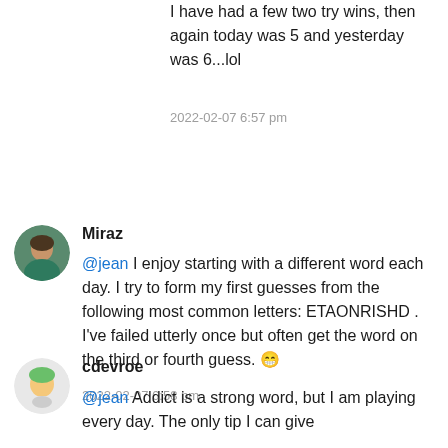I have had a few two try wins, then again today was 5 and yesterday was 6...lol
2022-02-07 6:57 pm
Miraz
@jean I enjoy starting with a different word each day. I try to form my first guesses from the following most common letters: ETAONRISHD . I've failed utterly once but often get the word on the third or fourth guess. 😁
2022-02-07 6:58 pm
cdevroe
@jean Addict is a strong word, but I am playing every day. The only tip I can give